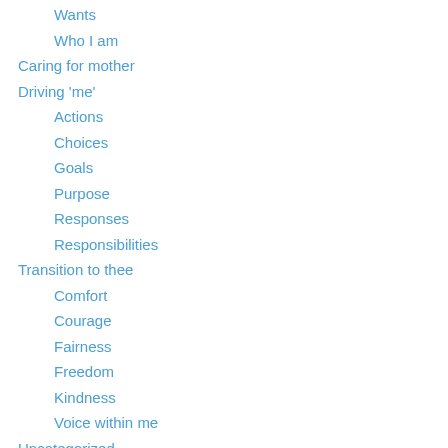Wants
Who I am
Caring for mother
Driving 'me'
Actions
Choices
Goals
Purpose
Responses
Responsibilities
Transition to thee
Comfort
Courage
Fairness
Freedom
Kindness
Voice within me
Uncategorized
Words of Wisdom
Poems